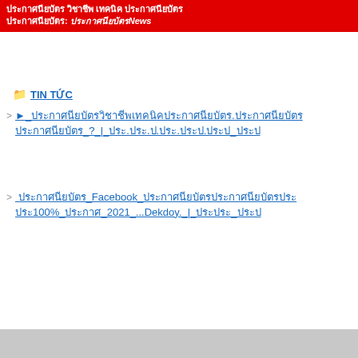ประกาศนียบัตร วิชาชีพ เทคนิค ประกาศนียบัตร: ประกาศนียบัตรNews
TIN TỨC
▶ ประกาศนียบัตรวิชาชีพเทคนิคประกาศนียบัตร.ประกาศนียบัตรประกาศนียบัตร ? | ประ.ประ.ป.ประ.ประป.ประป ประป
ประกาศนียบัตร Facebook ประกาศนียบัตรประกาศนียบัตร ประประ100% ประกาศ 2021 ...Dekdoy. | ประประ ประป